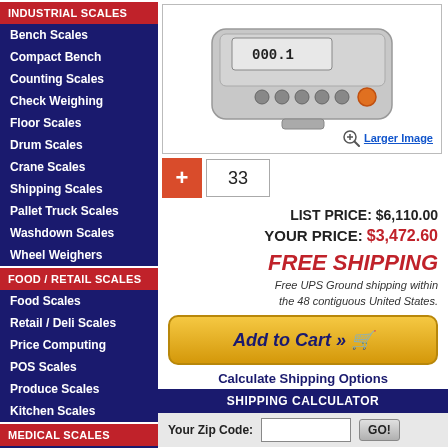INDUSTRIAL SCALES
Bench Scales
Compact Bench
Counting Scales
Check Weighing
Floor Scales
Drum Scales
Crane Scales
Shipping Scales
Pallet Truck Scales
Washdown Scales
Wheel Weighers
FOOD / RETAIL SCALES
Food Scales
Retail / Deli Scales
Price Computing
POS Scales
Produce Scales
Kitchen Scales
MEDICAL SCALES
Physician Scales
Infant Scales
[Figure (photo): Industrial scale product photo with a digital indicator/display unit shown from above. A zoom/Larger Image link is shown at bottom right.]
33
LIST PRICE: $6,110.00
YOUR PRICE: $3,472.60
FREE SHIPPING
Free UPS Ground shipping within the 48 contiguous United States.
Add to Cart »
Calculate Shipping Options
SHIPPING CALCULATOR
Your Zip Code: